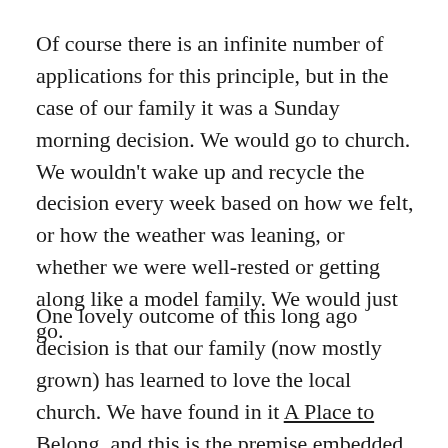Of course there is an infinite number of applications for this principle, but in the case of our family it was a Sunday morning decision. We would go to church. We wouldn't wake up and recycle the decision every week based on how we felt, or how the weather was leaning, or whether we were well-rested or getting along like a model family. We would just go.
One lovely outcome of this long ago decision is that our family (now mostly grown) has learned to love the local church. We have found in it A Place to Belong, and this is the premise embedded in Megan Hill's writing. When our Christ-following life is connected to the church